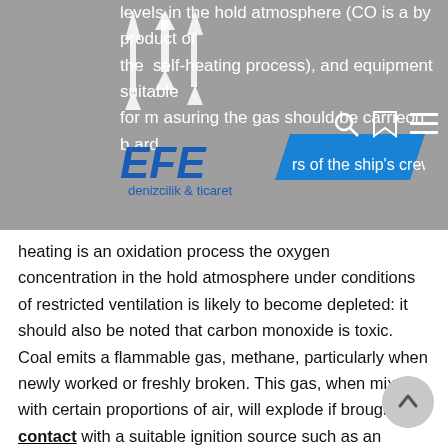levels in the hold atmosphere (CO is a by product of the self-heating process), and equipment suitable for measuring the gas should be carried on board. Responsible members of the ship's crew should be trained in the use of the equipment. Because self-heating is an oxidation process the oxygen concentration in the hold atmosphere under conditions of restricted ventilation is likely to become depleted: it should also be noted that carbon monoxide is toxic. Coal emits a flammable gas, methane, particularly when newly worked or freshly broken. This gas, when mixed with certain proportions of air, will explode if brought into contact with a suitable ignition source such as an electrical or frictional spark, flame, or heated surface. Again, given the wide variability in the properties of coal, some cargoes will be particularly prone to this. For cargoes which are described as
[Figure (logo): EFE denizcilik & ticaret company logo with blue text and arrow graphic]